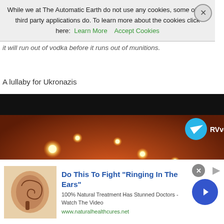While we at The Automatic Earth do not use any cookies, some of our third party applications do. To learn more about the cookies click here: Learn More   Accept Cookies
it will run out of vodka before it runs out of munitions.
A lullaby for Ukronazis
[Figure (screenshot): Video thumbnail showing night-time military footage with glowing explosions/lights on an orange-brown background. Telegram channel watermark 'RVvoe' visible top right. RusVesna 50 watermark at bottom center. Red YouTube-style play button in center. Video close button top right.]
[Figure (screenshot): Advertisement banner at bottom: 'Do This To Fight Ringing In The Ears' - 100% Natural Treatment Has Stunned Doctors - Watch The Video. www.naturalhealthcures.net. Ear illustration on left, blue arrow button on right.]